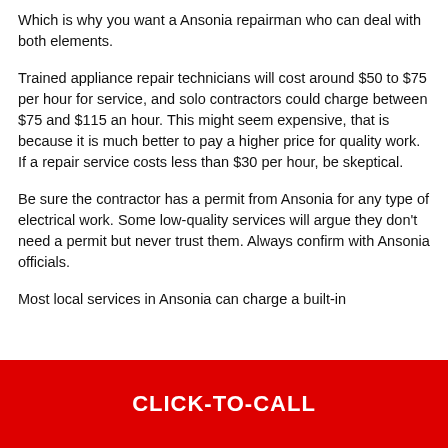Which is why you want a Ansonia repairman who can deal with both elements.
Trained appliance repair technicians will cost around $50 to $75 per hour for service, and solo contractors could charge between $75 and $115 an hour. This might seem expensive, that is because it is much better to pay a higher price for quality work. If a repair service costs less than $30 per hour, be skeptical.
Be sure the contractor has a permit from Ansonia for any type of electrical work. Some low-quality services will argue they don't need a permit but never trust them. Always confirm with Ansonia officials.
Most local services in Ansonia can charge a built-in
CLICK-TO-CALL